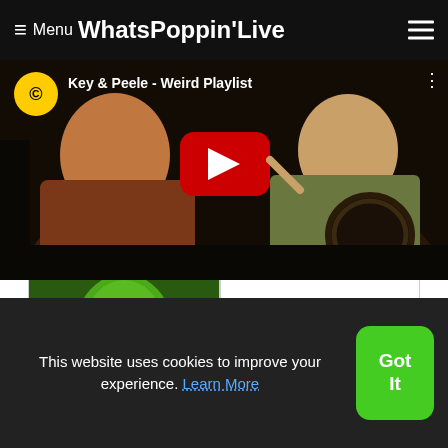≡ Menu WhatsPoppin'Live
[Figure (screenshot): YouTube video thumbnail for 'Key & Peele - Weird Playlist' showing two people in a car with Comedy Central logo and red YouTube play button]
[Figure (screenshot): Video thumbnail showing character in green mask costume (The Mask) smiling]
This website uses cookies to improve your experience. Learn More
Got It